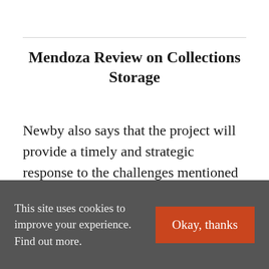Mendoza Review on Collections Storage
Newby also says that the project will provide a timely and strategic response to the challenges mentioned in the Mendoza Review, published in November 2017, with the benefits reaching far beyond the
This site uses cookies to improve your experience. Find out more.